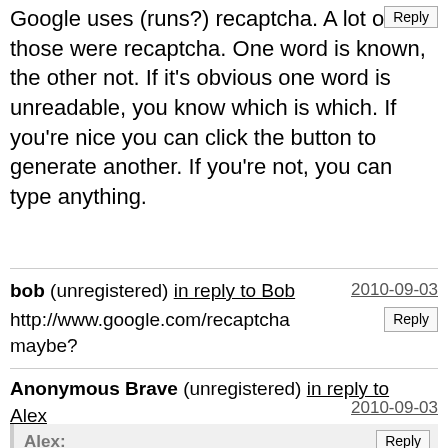Google uses (runs?) recaptcha. A lot of those were recaptcha. One word is known, the other not. If it's obvious one word is unreadable, you know which is which. If you're nice you can click the button to generate another. If you're not, you can type anything.
bob (unregistered) in reply to Bob
http://www.google.com/recaptcha
maybe?
2010-09-03
Anonymous Brave (unregistered) in reply to Alex
2010-09-03
Alex: Loved it!